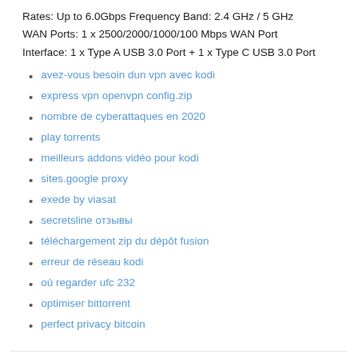Rates: Up to 6.0Gbps Frequency Band: 2.4 GHz / 5 GHz
WAN Ports: 1 x 2500/2000/1000/100 Mbps WAN Port
Interface: 1 x Type A USB 3.0 Port + 1 x Type C USB 3.0 Port
avez-vous besoin dun vpn avec kodi
express vpn openvpn config.zip
nombre de cyberattaques en 2020
play torrents
meilleurs addons vidéo pour kodi
sites.google proxy
exede by viasat
secretsline отзывы
téléchargement zip du dépôt fusion
erreur de réseau kodi
où regarder ufc 232
optimiser bittorrent
perfect privacy bitcoin